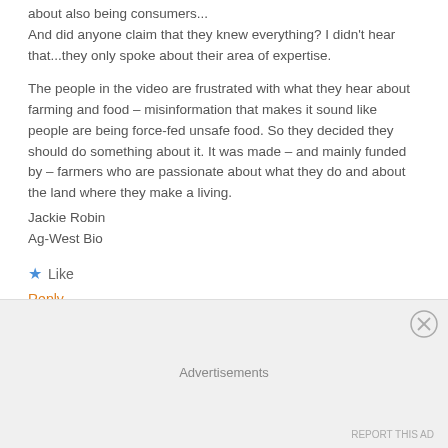about also being consumers...
And did anyone claim that they knew everything? I didn't hear that...they only spoke about their area of expertise.
The people in the video are frustrated with what they hear about farming and food – misinformation that makes it sound like people are being force-fed unsafe food. So they decided they should do something about it. It was made – and mainly funded by – farmers who are passionate about what they do and about the land where they make a living.
Jackie Robin
Ag-West Bio
★ Like
Reply
Diana
Advertisements